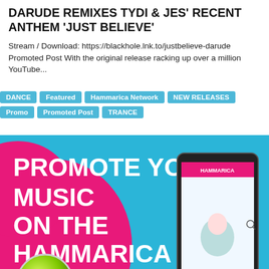DARUDE REMIXES TYDI & JES' RECENT ANTHEM 'JUST BELIEVE'
Stream / Download: https://blackhole.lnk.to/justbelieve-darude Promoted Post With the original release racking up over a million YouTube...
DANCE
Featured
Hammarica Network
NEW RELEASES
Promo
Promoted Post
TRANCE
[Figure (illustration): Promotional banner for Hammarica Network: 'PROMOTE YOUR MUSIC ON THE HAMMARICA NETWORK!' with a green 'CLICK HERE TO' button in the lower left, a smartphone showing the Hammarica website, on a cyan/teal and pink/magenta background.]